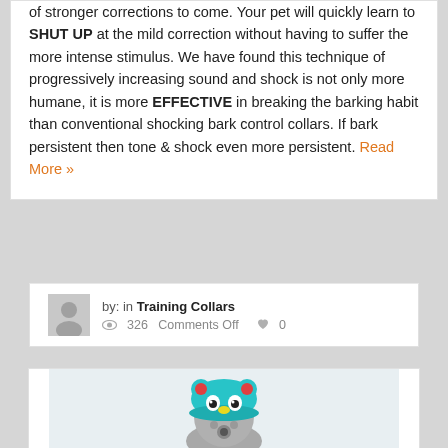of stronger corrections to come. Your pet will quickly learn to SHUT UP at the mild correction without having to suffer the more intense stimulus. We have found this technique of progressively increasing sound and shock is not only more humane, it is more EFFECTIVE in breaking the barking habit than conventional shocking bark control collars. If bark persistent then tone & shock even more persistent. Read More »
by: in Training Collars  326  Comments Off  0
[Figure (photo): A small fluffy gray dog wearing a teal/turquoise knitted hat with bear ears, eyes, and red cheek details, photographed against a light background.]